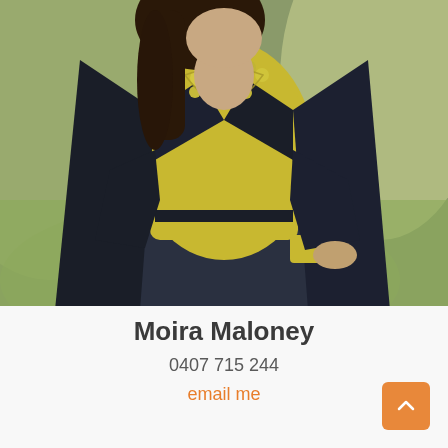[Figure (photo): Professional photo of Moira Maloney, a woman with long dark hair wearing a dark navy blazer over a mustard/yellow top with a yellow beaded necklace, and dark trousers, posed with hand on hip against a blurred outdoor background]
Moira Maloney
0407 715 244
email me